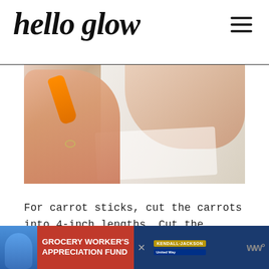hello glow
[Figure (photo): Close-up photo of a hand holding an orange carrot over a white marble or parchment surface, with another arm visible in the background.]
For carrot sticks, cut the carrots into 4-inch lengths. Cut the carrots into quarters lengthwise.
[Figure (infographic): Advertisement banner: Grocery Worker's Appreciation Fund, featuring Kendall-Jackson and United Way logos, with a close button.]